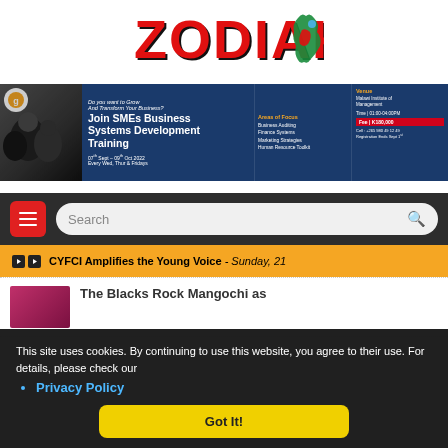[Figure (logo): Zodiak logo in bold red letters with black shadow, with a colorful Malawi map icon on the right]
[Figure (infographic): Advertisement banner for SMEs Business Systems Development Training. Join SMEs Business Development Training, 07th Sept - 09th Oct 2022, Every Wed, Thur & Fridays. Areas of Focus: Business Auditing, Finance Systems, Marketing Strategies, Human Resource Toolkit. Venue: Malawi Institute of Management. Time: 01:00-04:00PM. Fee: K180,000. Cell: +265 980 49 12 49. Registration Ends Sept 1st]
[Figure (screenshot): Dark navigation bar with a red hamburger menu button on the left and a search box on the right]
CYFCI Amplifies the Young Voice - Sunday, 21
[Figure (photo): Small thumbnail image in pink/red tones for article preview]
The Blacks Rock Mangochi as
This site uses cookies. By continuing to use this website, you agree to their use. For details, please check our
Privacy Policy
Got It!